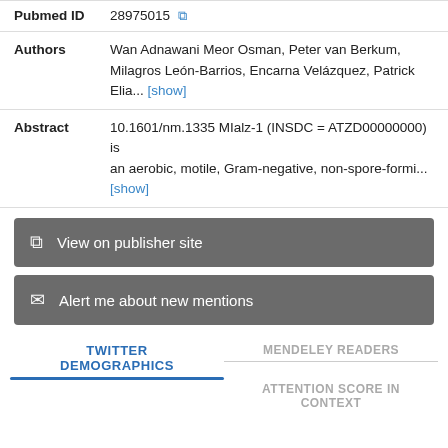| Field | Value |
| --- | --- |
| Pubmed ID | 28975015 [external link] |
| Authors | Wan Adnawani Meor Osman, Peter van Berkum, Milagros León-Barrios, Encarna Velázquez, Patrick Elia... [show] |
| Abstract | 10.1601/nm.1335 MIalz-1 (INSDC = ATZD00000000) is an aerobic, motile, Gram-negative, non-spore-formi... [show] |
View on publisher site
Alert me about new mentions
TWITTER DEMOGRAPHICS
MENDELEY READERS
ATTENTION SCORE IN CONTEXT